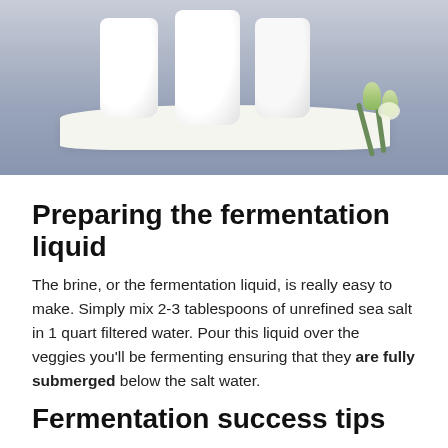[Figure (photo): Photo of white glass jars on a white cloth/towel on a blue-gray surface, with green flower buds in the bottom right corner]
Preparing the fermentation liquid
The brine, or the fermentation liquid, is really easy to make. Simply mix 2-3 tablespoons of unrefined sea salt in 1 quart filtered water. Pour this liquid over the veggies you'll be fermenting ensuring that they are fully submerged below the salt water.
Fermentation success tips
Make sure to discard any bruised, molded, or weird looking veggies as these can cause your ferment to